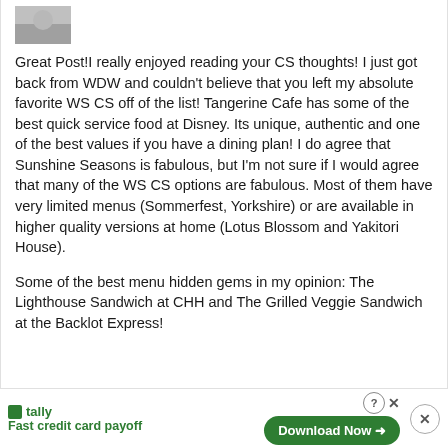[Figure (photo): Small thumbnail image of a person or avatar, partially visible at top]
Great Post!I really enjoyed reading your CS thoughts! I just got back from WDW and couldn't believe that you left my absolute favorite WS CS off of the list! Tangerine Cafe has some of the best quick service food at Disney. Its unique, authentic and one of the best values if you have a dining plan! I do agree that Sunshine Seasons is fabulous, but I'm not sure if I would agree that many of the WS CS options are fabulous. Most of them have very limited menus (Sommerfest, Yorkshire) or are available in higher quality versions at home (Lotus Blossom and Yakitori House).
Some of the best menu hidden gems in my opinion: The Lighthouse Sandwich at CHH and The Grilled Veggie Sandwich at the Backlot Express!
[Figure (screenshot): Advertisement bar: Tally app ad with 'Fast credit card payoff' text, Download Now button, close buttons]